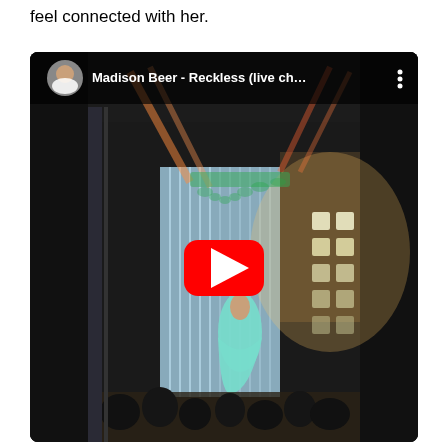feel connected with her.
[Figure (screenshot): YouTube video embed showing Madison Beer - Reckless (live ch...) with a concert scene thumbnail. A performer in a green dress stands on stage with colorful stage lighting. The YouTube play button (red rectangle with white triangle) is centered on the image. The top bar shows a circular profile photo and the video title.]